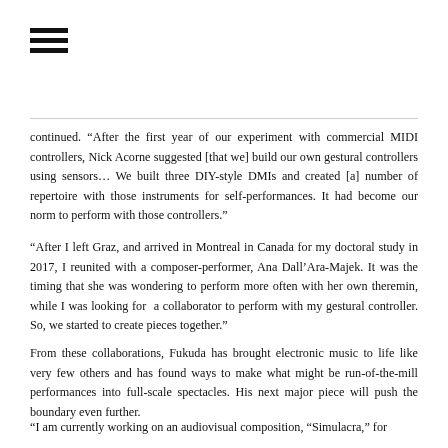[Figure (other): Hamburger menu icon with three horizontal bars]
continued. “After the first year of our experiment with commercial MIDI controllers, Nick Acorne suggested [that we] build our own gestural controllers using sensors… We built three DIY-style DMIs and created [a] number of repertoire with those instruments for self-performances. It had become our norm to perform with those controllers.”
“After I left Graz, and arrived in Montreal in Canada for my doctoral study in 2017, I reunited with a composer-performer, Ana Dall’Ara-Majek. It was the timing that she was wondering to perform more often with her own theremin, while I was looking for a collaborator to perform with my gestural controller. So, we started to create pieces together.”
From these collaborations, Fukuda has brought electronic music to life like very few others and has found ways to make what might be run-of-the-mill performances into full-scale spectacles. His next major piece will push the boundary even further.
“I am currently working on an audiovisual composition, “Simulacra,” for